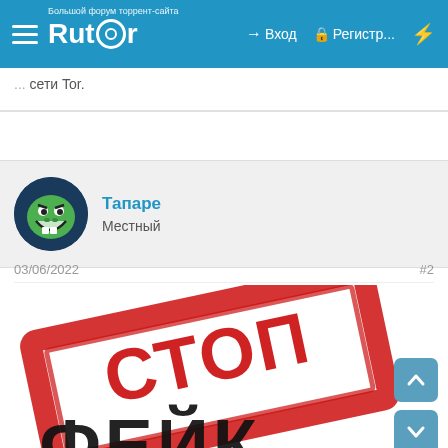Rutor — Вход — Регистр...
сети Tor.
Тапаре
Местный
03/06/2022   #2
[Figure (photo): СТОП ФЕЙК red rubber stamp image with bold red border and text, partially showing ФЕЙК in black at bottom]